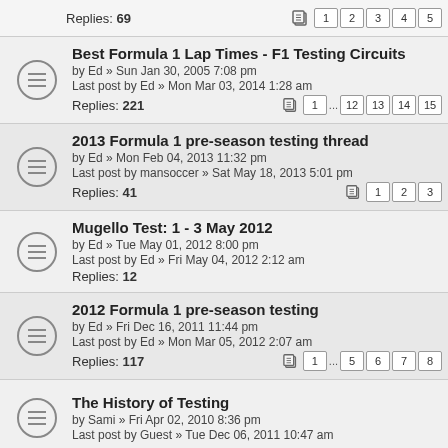Replies: 69 | pages 1 2 3 4 5
Best Formula 1 Lap Times - F1 Testing Circuits
by Ed » Sun Jan 30, 2005 7:08 pm
Last post by Ed » Mon Mar 03, 2014 1:28 am
Replies: 221 | pages 1 ... 12 13 14 15
2013 Formula 1 pre-season testing thread
by Ed » Mon Feb 04, 2013 11:32 pm
Last post by mansoccer » Sat May 18, 2013 5:01 pm
Replies: 41 | pages 1 2 3
Mugello Test: 1 - 3 May 2012
by Ed » Tue May 01, 2012 8:00 pm
Last post by Ed » Fri May 04, 2012 2:12 am
Replies: 12
2012 Formula 1 pre-season testing
by Ed » Fri Dec 16, 2011 11:44 pm
Last post by Ed » Mon Mar 05, 2012 2:07 am
Replies: 117 | pages 1 ... 5 6 7 8
The History of Testing
by Sami » Fri Apr 02, 2010 8:36 pm
Last post by Guest » Tue Dec 06, 2011 10:47 am